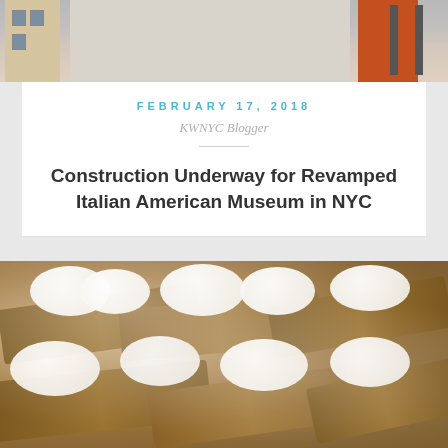[Figure (photo): Street scene photo showing buildings with fire escapes in NYC neighborhood]
February 17, 2018
KWNYC Blogger
Construction Underway for Revamped Italian American Museum in NYC
[Figure (photo): Close-up photo of Italian cannoli pastries with cream filling and powdered sugar]